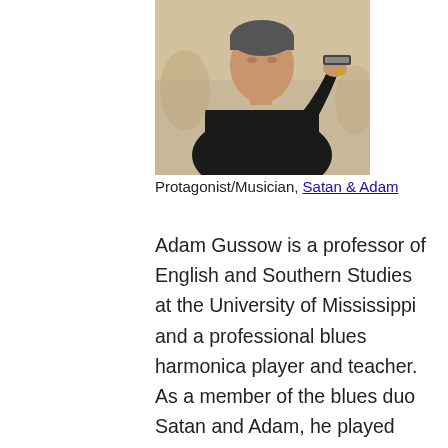[Figure (photo): Photo of a man in a black shirt holding a harmonica up near his face, seated outdoors.]
Protagonist/Musician, Satan & Adam
Adam Gussow is a professor of English and Southern Studies at the University of Mississippi and a professional blues harmonica player and teacher. As a member of the blues duo Satan and Adam, he played blues, jazz, and folk festivals and recorded half a dozen albums. As well as teaching private lessons and workshops, Gussow posts